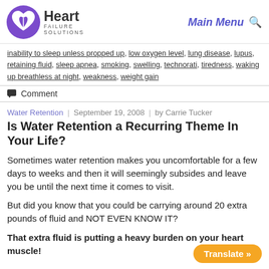Heart Failure Solutions — Main Menu
inability to sleep unless propped up, low oxygen level, lung disease, lupus, retaining fluid, sleep apnea, smoking, swelling, technorati, tiredness, waking up breathless at night, weakness, weight gain
Comment
Water Retention | September 19, 2008 | by Carrie Tucker
Is Water Retention a Recurring Theme In Your Life?
Sometimes water retention makes you uncomfortable for a few days to weeks and then it will seemingly subsides and leave you be until the next time it comes to visit.
But did you know that you could be carrying around 20 extra pounds of fluid and NOT EVEN KNOW IT?
That extra fluid is putting a heavy burden on your heart muscle!
Translate »